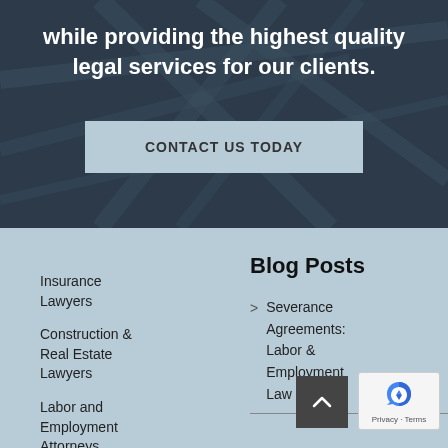while providing the highest quality legal services for our clients.
CONTACT US TODAY
Insurance Lawyers
Construction & Real Estate Lawyers
Labor and Employment Attorneys
Blog Posts
Severance Agreements: Labor & Employment Law